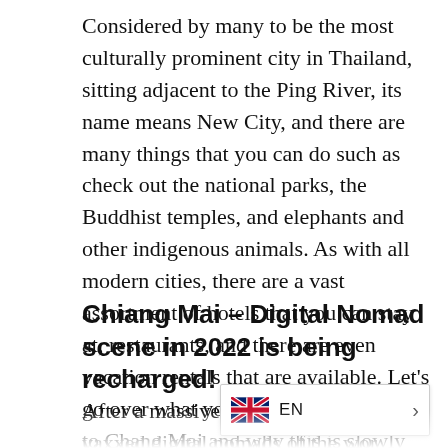Considered by many to be the most culturally prominent city in Thailand, sitting adjacent to the Ping River, its name means New City, and there are many things that you can do such as check out the national parks, the Buddhist temples, and elephants and other indigenous animals. As with all modern cities, there are a vast assortment of hotels that you can stay at, restaurants, and there are even vacation rentals that are available. Let's go over what you can do when you get to Chang Mai and why this is slowly becoming another very popular destination for people that like to visit Thailand.
Chiang Mai – Digital Nomad scene in 2022 is being recharged!
After a massive 2 year long brea… vaxxed digital nomads of the wor…